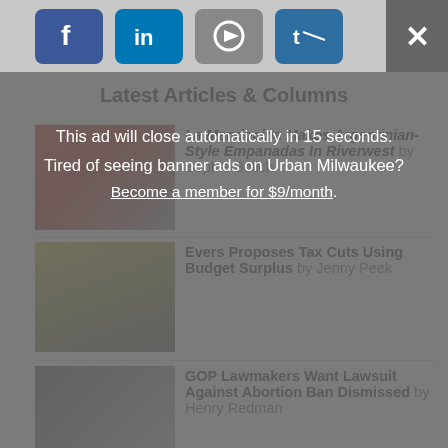[Figure (screenshot): Social media share icons: Facebook, LinkedIn, YouTube/Email, Twitter/share buttons in colored rounded squares]
Latest Articles & Columns
This ad will close automatically in 15 seconds.
Tired of seeing banner ads on Urban Milwaukee?
Become a member for $9/month.
[Figure (photo): Thumbnail photo of a storefront with red signage, related to La Mendocina empanadas restaurant in Riverwest]
La Mendocina Makes Argentinian-Style Empanadas In Riverwest by Sophie Bolich
[Figure (photo): Thumbnail photo of an older man with glasses and gray hair, related to Governor Evers article]
Evers Proposes Tax Cuts Using Budget Surplus by Jenny Peek
[Figure (photo): Thumbnail photo related to abortion ban lawsuit article]
GOP Lawmakers Want Lawsuit Against Abortion Ban Dismissed by Henry Redman